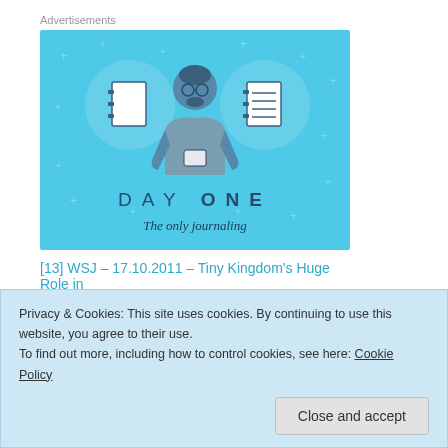Advertisements
[Figure (illustration): Day One app advertisement banner with light blue background showing a figure holding a phone, flanked by two circular icons with notebook graphics. Text reads 'DAY ONE' and 'The only journaling']
[13] WSJ – 17.10.2011 – Tiny Kingdom's Huge Role in
Privacy & Cookies: This site uses cookies. By continuing to use this website, you agree to their use.
To find out more, including how to control cookies, see here: Cookie Policy
Close and accept